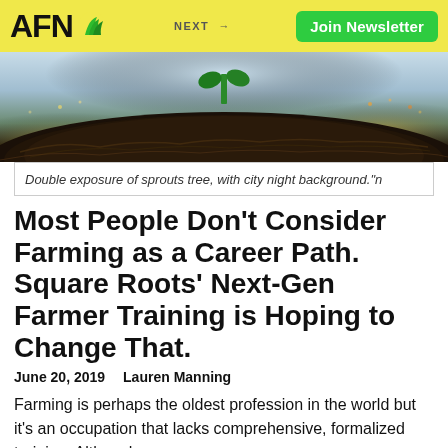AFN — NEXT → Join Newsletter
[Figure (photo): Double exposure photo of a sprouts tree with soil mound in foreground and city night background with lights]
Double exposure of sprouts tree, with city night background."n
Most People Don't Consider Farming as a Career Path. Square Roots' Next-Gen Farmer Training is Hoping to Change That.
June 20, 2019   Lauren Manning
Farming is perhaps the oldest profession in the world but it's an occupation that lacks comprehensive, formalized training. Although